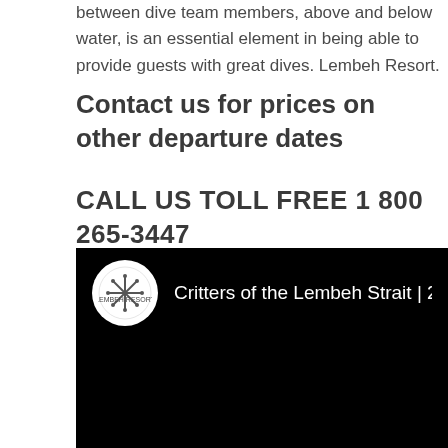between dive team members, above and below water, is an essential element in being able to provide guests with great dives. Lembeh Resort.
Contact us for prices on other departure dates
CALL US TOLL FREE 1 800 265-3447
[Figure (screenshot): Video thumbnail for 'Critters of the Lembeh Strait | 2014 Highlights' with Lembeh Resort logo on black background]